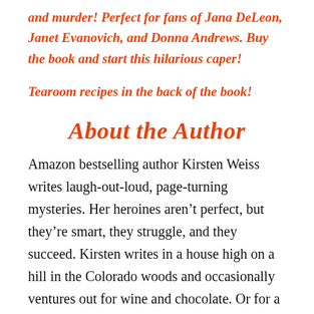and murder! Perfect for fans of Jana DeLeon, Janet Evanovich, and Donna Andrews. Buy the book and start this hilarious caper!
Tearoom recipes in the back of the book!
About the Author
Amazon bestselling author Kirsten Weiss writes laugh-out-loud, page-turning mysteries. Her heroines aren’t perfect, but they’re smart, they struggle, and they succeed. Kirsten writes in a house high on a hill in the Colorado woods and occasionally ventures out for wine and chocolate. Or for a visit to